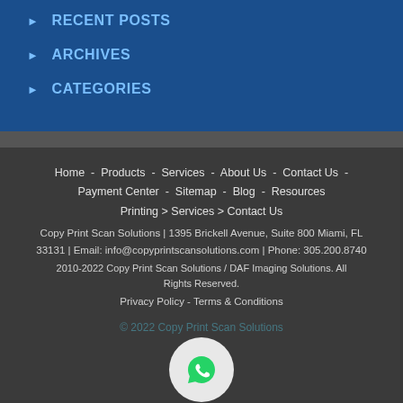RECENT POSTS
ARCHIVES
CATEGORIES
Home - Products - Services - About Us - Contact Us - Payment Center - Sitemap - Blog - Resources
Printing > Services > Contact Us
Copy Print Scan Solutions | 1395 Brickell Avenue, Suite 800 Miami, FL 33131 | Email: info@copyprintscansolutions.com | Phone: 305.200.8740
2010-2022 Copy Print Scan Solutions / DAF Imaging Solutions. All Rights Reserved.
Privacy Policy - Terms & Conditions
© 2022 Copy Print Scan Solutions